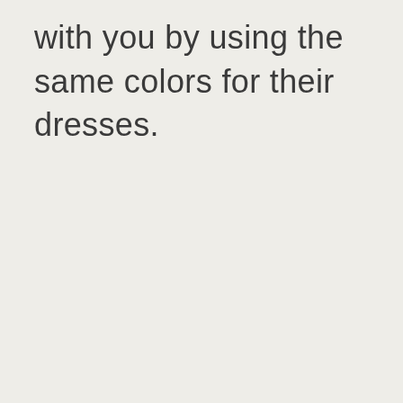with you by using the same colors for their dresses.